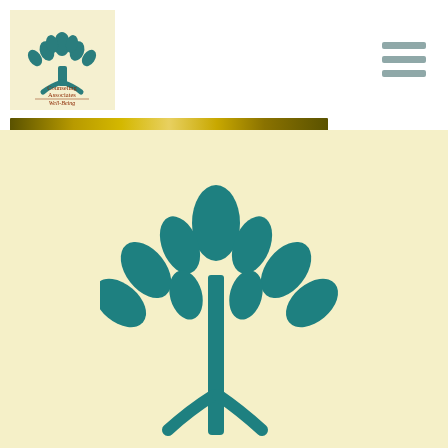[Figure (logo): Counseling Associates for Well-Being logo: teal tree icon above text on cream background]
[Figure (illustration): Hamburger menu icon with three horizontal gray bars]
[Figure (illustration): Gold/olive horizontal decorative bar]
[Figure (illustration): Large teal stylized tree with multiple leaf clusters on cream background, same tree as in logo but enlarged]